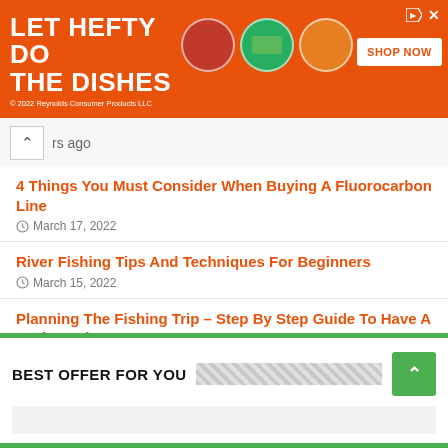[Figure (screenshot): Orange advertisement banner for Hefty dish soap products with text LET HEFTY DO THE DISHES, product images, and SHOP NOW button. Copyright 2022 Reynolds Consumer Products LLC.]
rs ago
4 Things You Must Consider When Buying A Fluorocarbon Line
March 17, 2022
River Fishing Tips And Techniques For Beginners
March 15, 2022
Planning The Fishing Trip – Step By Step Guide To Have A Perfect Trip
March 12, 2022
8 Types Of Fishing Reels Available On The Market.
February 25, 2022
BEST OFFER FOR YOU